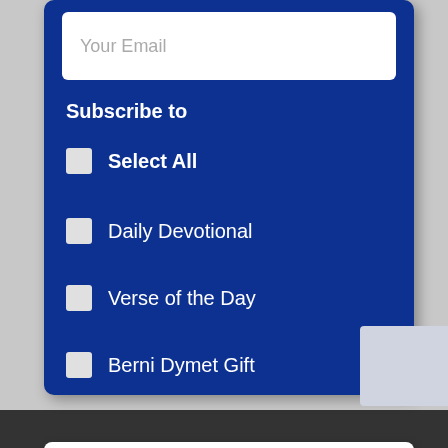Your Email
Subscribe to
Select All
Daily Devotional
Verse of the Day
Berni Dymet Gift
Submit